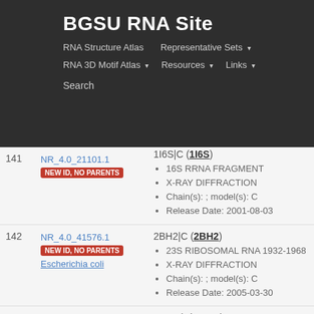BGSU RNA Site
RNA Structure Atlas | Representative Sets ▾ | RNA 3D Motif Atlas ▾ | Resources ▾ | Links ▾ | Search
| # | ID / Badge / Organism | PDB / Details |
| --- | --- | --- |
| 141 | NR_4.0_21101.1
NEW ID, NO PARENTS | 1I6S|C (1I6S)
• 16S RRNA FRAGMENT
• X-RAY DIFFRACTION
• Chain(s): ; model(s): C
• Release Date: 2001-08-03 |
| 142 | NR_4.0_41576.1
NEW ID, NO PARENTS
Escherichia coli | 2BH2|C (2BH2)
• 23S RIBOSOMAL RNA 1932-1968
• X-RAY DIFFRACTION
• Chain(s): ; model(s): C
• Release Date: 2005-03-30 |
| 143 | NR_4.0_72617.1
NEW ID, NO PARENTS | 1KOG|I (1KOG)
• Threonyl-tRNA synthetase mRNA
• X-RAY DIFFRACTION
• Chain(s): ; model(s): I |